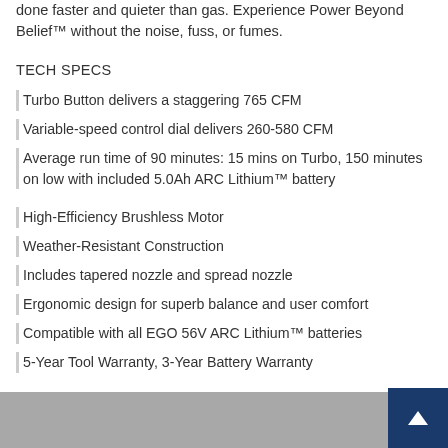done faster and quieter than gas. Experience Power Beyond Belief™ without the noise, fuss, or fumes.
TECH SPECS
Turbo Button delivers a staggering 765 CFM
Variable-speed control dial delivers 260-580 CFM
Average run time of 90 minutes: 15 mins on Turbo, 150 minutes on low with included 5.0Ah ARC Lithium™ battery
High-Efficiency Brushless Motor
Weather-Resistant Construction
Includes tapered nozzle and spread nozzle
Ergonomic design for superb balance and user comfort
Compatible with all EGO 56V ARC Lithium™ batteries
5-Year Tool Warranty, 3-Year Battery Warranty